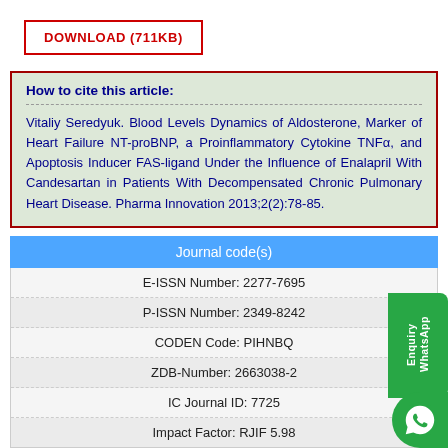DOWNLOAD (711KB)
How to cite this article: Vitaliy Seredyuk. Blood Levels Dynamics of Aldosterone, Marker of Heart Failure NT-proBNP, a Proinflammatory Cytokine TNFα, and Apoptosis Inducer FAS-ligand Under the Influence of Enalapril With Candesartan in Patients With Decompensated Chronic Pulmonary Heart Disease. Pharma Innovation 2013;2(2):78-85.
| Journal code(s) |
| --- |
| E-ISSN Number: 2277-7695 |
| P-ISSN Number: 2349-8242 |
| CODEN Code: PIHNBQ |
| ZDB-Number: 2663038-2 |
| IC Journal ID: 7725 |
| Impact Factor: RJIF 5.98 |
Main Menu